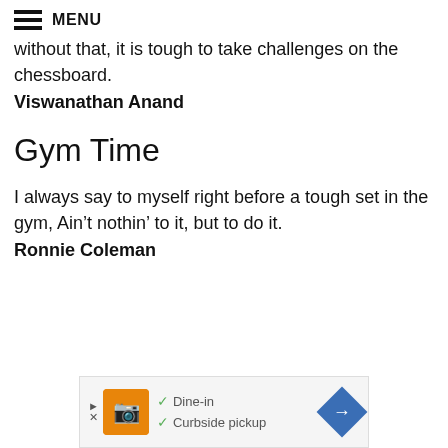≡ MENU
without that, it is tough to take challenges on the chessboard.
Viswanathan Anand
Gym Time
I always say to myself right before a tough set in the gym, Ain't nothin' to it, but to do it.
Ronnie Coleman
[Figure (other): Advertisement banner with restaurant logo, dine-in and curbside pickup checkmarks, and navigation arrow icon]